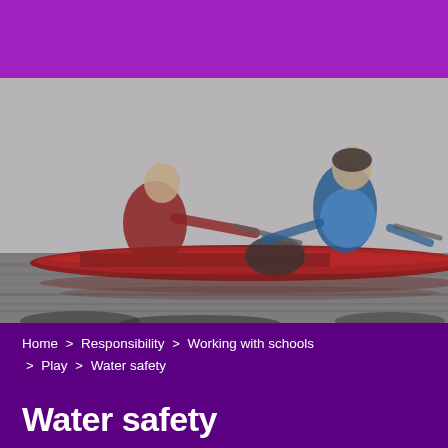[Figure (photo): Two people paddling a red canoe or kayak on water, blurred/out of focus image. One person in red on the left, one in blue on the right.]
Home > Responsibility > Working with schools > Play > Water safety
Water safety